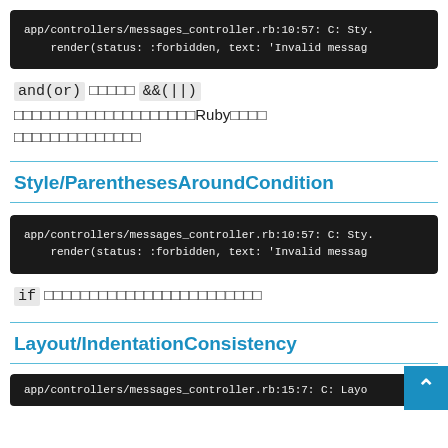[Figure (screenshot): Dark terminal/code block showing: app/controllers/messages_controller.rb:10:57: C: Sty. / render(status: :forbidden, text: 'Invalid messag]
and(or) □□□□□ &&(||) □□□□□□□□□□□□□□□□□□□□Ruby□□□□ □□□□□□□□□□□□□□
Style/ParenthesesAroundCondition
[Figure (screenshot): Dark terminal/code block showing: app/controllers/messages_controller.rb:10:57: C: Sty. / render(status: :forbidden, text: 'Invalid messag]
if □□□□□□□□□□□□□□□□□□□□□□□□
Layout/IndentationConsistency
[Figure (screenshot): Dark terminal/code block showing: app/controllers/messages_controller.rb:15:7: C: Layo (partial)]